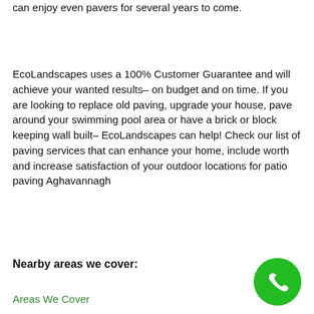can enjoy even pavers for several years to come.
EcoLandscapes uses a 100% Customer Guarantee and will achieve your wanted results– on budget and on time. If you are looking to replace old paving, upgrade your house, pave around your swimming pool area or have a brick or block keeping wall built– EcoLandscapes can help! Check our list of paving services that can enhance your home, include worth and increase satisfaction of your outdoor locations for patio paving Aghavannagh
Nearby areas we cover:
Areas We Cover
[Figure (other): Green circular phone call button in the bottom right corner]